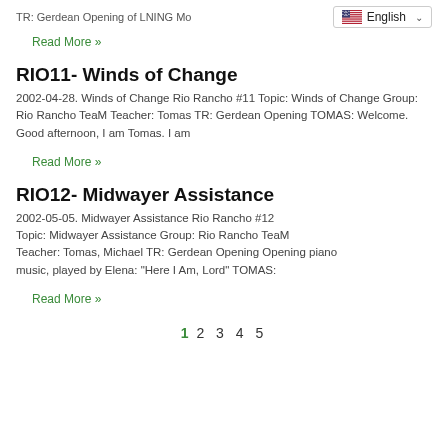TR: Gerdean Opening of LNING Mo...
Read More »
RIO11- Winds of Change
2002-04-28.  Winds of Change Rio Rancho #11 Topic: Winds of Change Group: Rio Rancho TeaM Teacher: Tomas TR: Gerdean Opening TOMAS: Welcome. Good afternoon, I am Tomas. I am
Read More »
RIO12- Midwayer Assistance
2002-05-05.  Midwayer Assistance Rio Rancho #12 Topic: Midwayer Assistance Group: Rio Rancho TeaM Teacher: Tomas, Michael TR: Gerdean Opening Opening piano music, played by Elena: "Here I Am, Lord" TOMAS:
Read More »
1  2  3  4  5